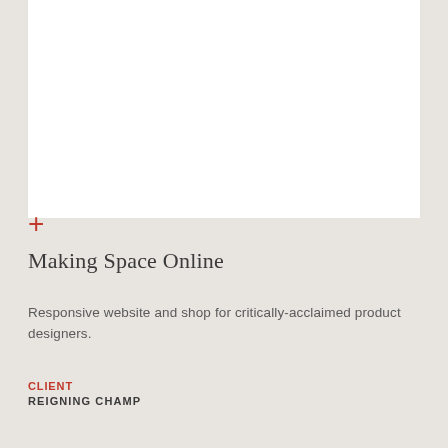[Figure (photo): White rectangular image area placeholder at the top of the page]
Making Space Online
Responsive website and shop for critically-acclaimed product designers.
CLIENT
REIGNING CHAMP